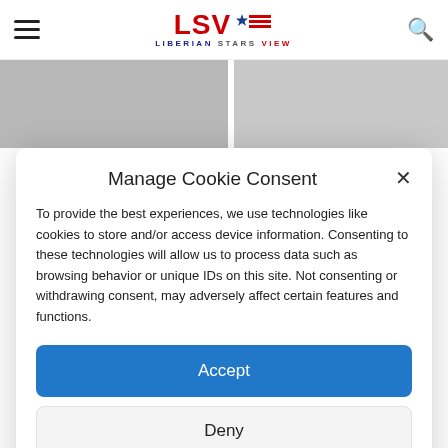LSV — LIBERIAN STARS VIEW
[Figure (screenshot): Two image thumbnails side by side behind the cookie consent modal]
Manage Cookie Consent
To provide the best experiences, we use technologies like cookies to store and/or access device information. Consenting to these technologies will allow us to process data such as browsing behavior or unique IDs on this site. Not consenting or withdrawing consent, may adversely affect certain features and functions.
Accept
Deny
View preferences